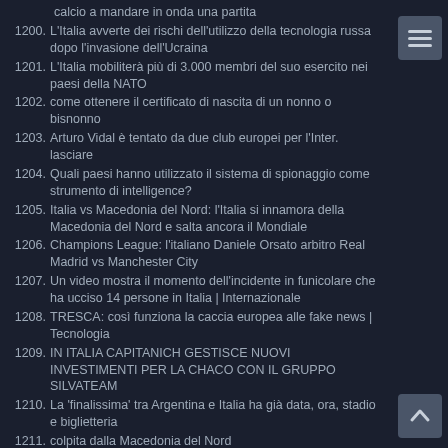(partial) calcio a mandare in onda una partita
1200. L'Italia avverte dei rischi dell'utilizzo della tecnologia russa dopo l'invasione dell'Ucraina
1201. L'Italia mobiliterà più di 3.000 membri del suo esercito nei paesi della NATO
1202. come ottenere il certificato di nascita di un nonno o bisnonno
1203. Arturo Vidal è tentato da due club europei per l'Inter. lasciare
1204. Quali paesi hanno utilizzato il sistema di spionaggio come strumento di intelligence?
1205. Italia vs Macedonia del Nord: l'Italia si innamora della Macedonia del Nord e salta ancora il Mondiale
1206. Champions League: l'italiano Daniele Orsato arbitro Real Madrid vs Manchester City
1207. Un video mostra il momento dell'incidente in funicolare che ha ucciso 14 persone in Italia | Internazionale
1208. TRESCA: così funziona la caccia europea alle fake news | Tecnologia
1209. IN ITALIA CAPITANICH GESTISCE NUOVI INVESTIMENTI PER LA CHACO CON IL GRUPPO SILVATEAM
1210. La 'finalissima' tra Argentina e Italia ha già data, ora, stadio e biglietteria
1211. colpita dalla Macedonia del Nord
1212. Le notizie del Mobile World Congress si concentrano sui laptop | Tecnologia
1213. Le partite di oggi: Italia-Macedonia del Nord: programma e dove vedere la partita dei playoff UEFA Qatar 2022 in diretta TV oggi
1214. Tre persone con lesioni del midollo spinale camminano di nuovo un giorno dopo aver ricevuto un impianto elettronico | Scienza